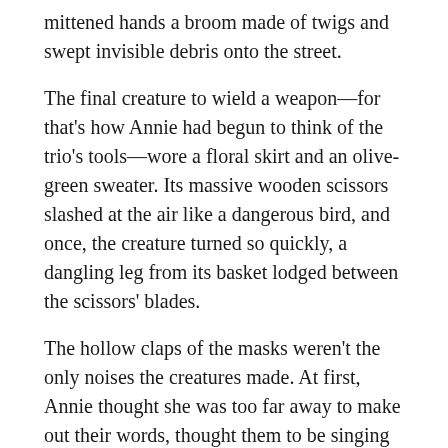mittened hands a broom made of twigs and swept invisible debris onto the street.
The final creature to wield a weapon—for that's how Annie had begun to think of the trio's tools—wore a floral skirt and an olive-green sweater. Its massive wooden scissors slashed at the air like a dangerous bird, and once, the creature turned so quickly, a dangling leg from its basket lodged between the scissors' blades.
The hollow claps of the masks weren't the only noises the creatures made. At first, Annie thought she was too far away to make out their words, thought them to be singing or chanting some Christmas carol or poem. But when the din of the crowd ebbed, Annie could discern what it was they said, a single syllable, meaningless—at